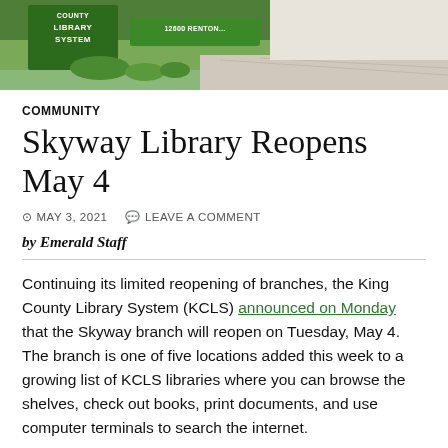[Figure (photo): Outdoor photo showing a green King County Library System sign in front of a modern building with pavement walkway and landscaping]
COMMUNITY
Skyway Library Reopens May 4
MAY 3, 2021   LEAVE A COMMENT
by Emerald Staff
Continuing its limited reopening of branches, the King County Library System (KCLS) announced on Monday that the Skyway branch will reopen on Tuesday, May 4. The branch is one of five locations added this week to a growing list of KCLS libraries where you can browse the shelves, check out books, print documents, and use computer terminals to search the internet.